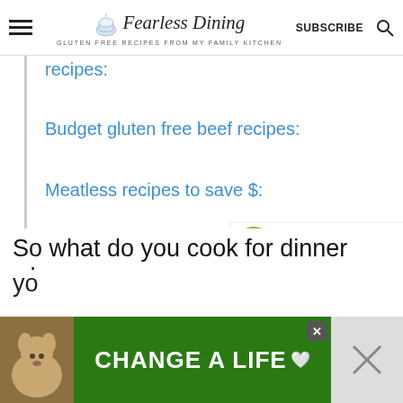Fearless Dining — GLUTEN FREE RECIPES FROM MY FAMILY KITCHEN — SUBSCRIBE
recipes:
Budget gluten free beef recipes:
Meatless recipes to save $:
More meatless recipes to try:
So what do you cook for dinner when
[Figure (screenshot): Ad banner: dog image on left, green background with bold white text 'CHANGE A LIFE' and a heart icon, close button top right]